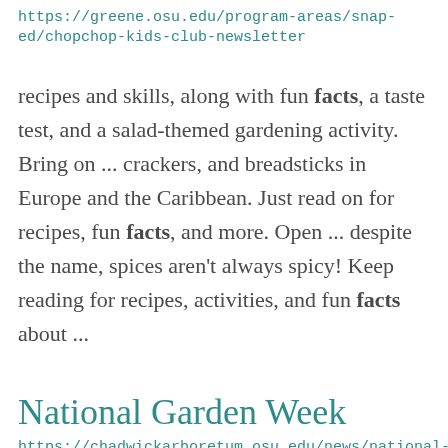https://greene.osu.edu/program-areas/snap-ed/chopchop-kids-club-newsletter
recipes and skills, along with fun facts, a taste test, and a salad-themed gardening activity.  Bring on ... crackers, and breadsticks in Europe and the Caribbean. Just read on for recipes, fun facts, and more. Open ... despite the name, spices aren't always spicy! Keep reading for recipes, activities, and fun facts about ...
National Garden Week
https://chadwickarboretum.osu.edu/news/national-garden-week
year in growing our gardens into what you see today. In fact, we estimate that it took